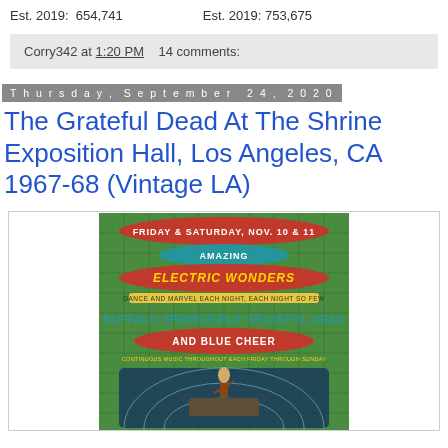Est. 2019: 654,741    Est. 2019: 753,675
Corry342 at 1:20 PM    14 comments:
Thursday, September 24, 2020
The Grateful Dead At The Shrine Exposition Hall, Los Angeles, CA 1967-68 (Vintage LA)
[Figure (illustration): Vintage concert poster for 'Amazing Electric Wonders' featuring Buffalo Springfield, Grateful Dead, and Blue Cheer, Friday & Saturday Nov. 10 & 11, with psychedelic art showing an arena seating chart and figures.]